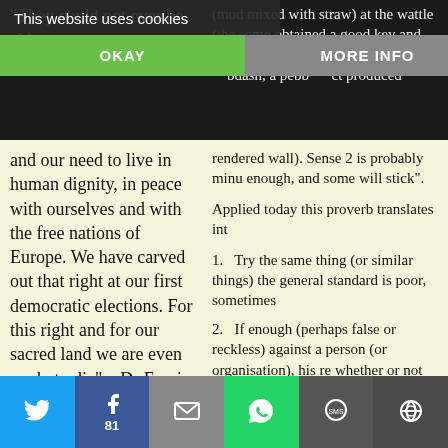"They could not ever be able to and our need to live in human dignity, in peace with ourselves and with the free nations of Europe. We have carved out that right at our first democratic elections. For this right and for our sacred land we are even ready to die" – Dr Franjo
(mud mixed with straw) at the wattle (the some obtained a good key and remained rendered wall). Sense 2 is probably mite enough, and some will stick". Applied today this proverb translates int 1. Try the same thing (or similar things) the general standard is poor, sometimes 2. If enough (perhaps false or reckless) against a person (or organisation), his re whether or not this is deserved. There is no need to state the obvious her accused of a crime mud flies from many d every action attracts a reaction and in Go of mud against him (blacklisting him) eve Treasury Department in 2003 – more tha
[Figure (screenshot): Cookie consent banner overlay with OKAY and MORE INFO buttons]
[Figure (infographic): Social media share bar at bottom with Twitter, Facebook, Email, WhatsApp, SMS, and More buttons. Facebook shows count of 81.]